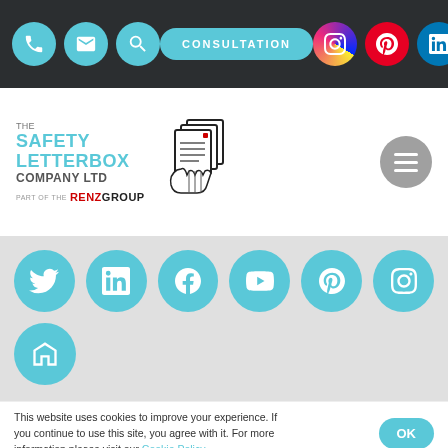Navigation bar with phone, email, search icons, CONSULTATION button, and Instagram, Pinterest, LinkedIn social icons
[Figure (logo): The Safety Letterbox Company Ltd logo with hand holding papers graphic, part of the RENZ GROUP]
[Figure (infographic): Social media icon circles: Twitter, LinkedIn, Facebook, YouTube, Pinterest, Instagram, Houzz — all in teal/blue circles on grey background]
This website uses cookies to improve your experience. If you continue to use this site, you agree with it. For more information please visit our Cookie Policy.